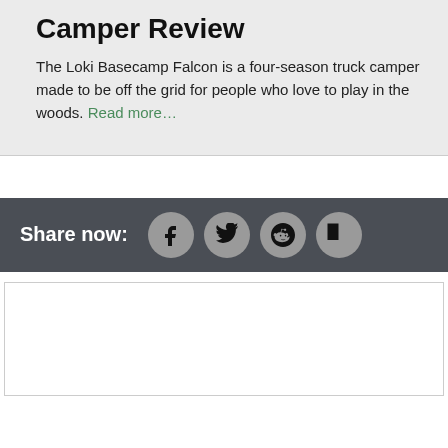Camper Review
The Loki Basecamp Falcon is a four-season truck camper made to be off the grid for people who love to play in the woods. Read more…
[Figure (infographic): Share now bar with social media icons: Facebook, Twitter, Reddit, Flipboard]
[Figure (other): Empty white advertisement box with border]